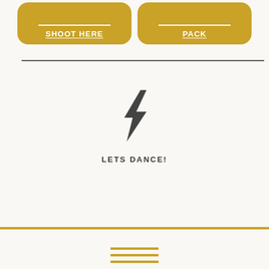[Figure (other): Two gold rounded buttons: left button labeled SHOOT HERE with white underline decoration, right button labeled PACK with white underline decoration]
[Figure (other): A dark gray lightning bolt icon centered on the page]
LETS DANCE!
[Figure (other): Gold horizontal rule footer line followed by three gold hamburger menu lines centered at the bottom]